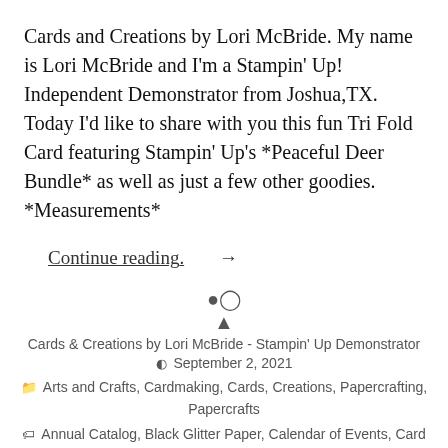Cards and Creations by Lori McBride. My name is Lori McBride and I'm a Stampin' Up! Independent Demonstrator from Joshua,TX. Today I'd like to share with you this fun Tri Fold Card featuring Stampin' Up's *Peaceful Deer Bundle* as well as just a few other goodies. *Measurements*
Continue reading. →
Cards & Creations by Lori McBride - Stampin' Up Demonstrator
September 2, 2021
Arts and Crafts, Cardmaking, Cards, Creations, Papercrafting, Papercrafts
Annual Catalog, Black Glitter Paper, Calendar of Events, Card, card kit, Card making, Cardmaking, Cards, Cards For Friends, Carryover, Christmas, Coordinating Product, Crafting, Crafts, Facebook, Facebook Live, Family, Friendship, Friendship Cards, handmade, holidays, homemade, Important Dates